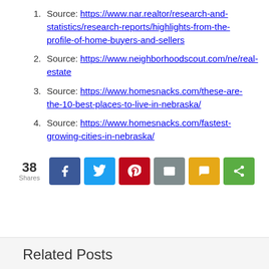Source: https://www.nar.realtor/research-and-statistics/research-reports/highlights-from-the-profile-of-home-buyers-and-sellers
Source: https://www.neighborhoodscout.com/ne/real-estate
Source: https://www.homesnacks.com/these-are-the-10-best-places-to-live-in-nebraska/
Source: https://www.homesnacks.com/fastest-growing-cities-in-nebraska/
[Figure (infographic): Social sharing bar with 38 Shares count and buttons for Facebook, Twitter, Pinterest, Email, SMS, and generic share]
Related Posts